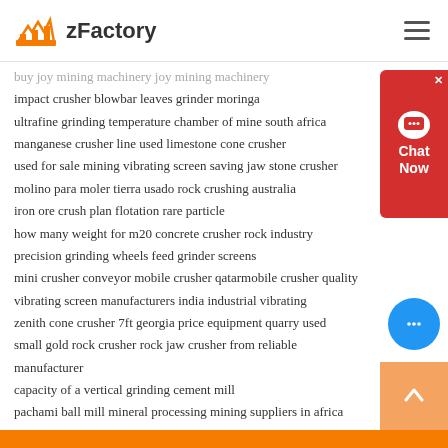zFactory
buy joy mining machinery joy mining machinery
impact crusher blowbar leaves grinder moringa
ultrafine grinding temperature chamber of mine south africa
manganese crusher line used limestone cone crusher
used for sale mining vibrating screen saving jaw stone crusher
molino para moler tierra usado rock crushing australia
iron ore crush plan flotation rare particle
how many weight for m20 concrete crusher rock industry
precision grinding wheels feed grinder screens
mini crusher conveyor mobile crusher qatarmobile crusher quality
vibrating screen manufacturers india industrial vibrating
zenith cone crusher 7ft georgia price equipment quarry used
small gold rock crusher rock jaw crusher from reliable manufacturer
capacity of a vertical grinding cement mill
pachami ball mill mineral processing mining suppliers in africa
mining belt feeder how a crushing machine works
ball mill cylindrical grinding